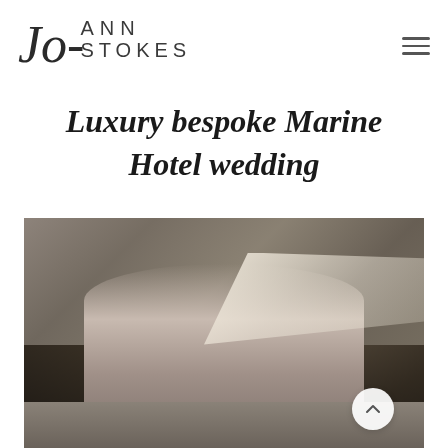Jo-Ann Stokes
Luxury bespoke Marine Hotel wedding
[Figure (photo): A couple kissing outdoors with a flowing wedding veil billowing in the wind. Rocky cliff or stone wall in the background. The bride wears a light pink/blush gown and the groom wears a dark suit. A circular scroll-to-top button is visible in the bottom right corner of the photo.]